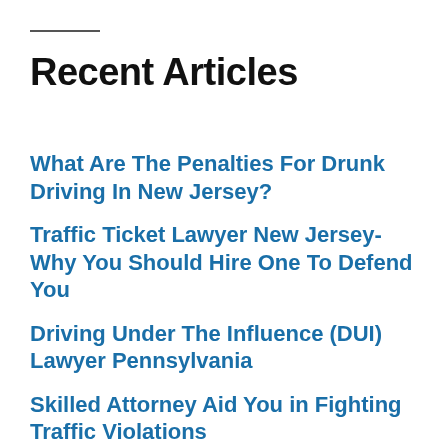Recent Articles
What Are The Penalties For Drunk Driving In New Jersey?
Traffic Ticket Lawyer New Jersey- Why You Should Hire One To Defend You
Driving Under The Influence (DUI) Lawyer Pennsylvania
Skilled Attorney Aid You in Fighting Traffic Violations
Things to Be Taken into